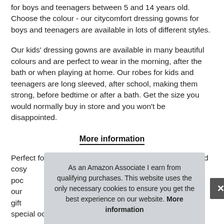for boys and teenagers between 5 and 14 years old. Choose the colour - our citycomfort dressing gowns for boys and teenagers are available in lots of different styles.
Our kids' dressing gowns are available in many beautiful colours and are perfect to wear in the morning, after the bath or when playing at home. Our robes for kids and teenagers are long sleeved, after school, making them strong, before bedtime or after a bath. Get the size you would normally buy in store and you won't be disappointed.
More information
Perfect for boys and teenagers who like to stay warm and cosy pocket our gift special occasion.
As an Amazon Associate I earn from qualifying purchases. This website uses the only necessary cookies to ensure you get the best experience on our website. More information